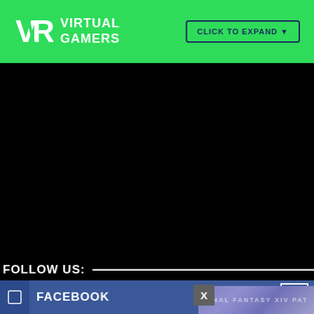[Figure (logo): Virtual Gamers logo with VR monogram in white on green background, with CLICK TO EXPAND button]
[Figure (screenshot): Black video player area]
FOLLOW US:
FACEBOOK
[Figure (screenshot): Partial overlay popup showing Final Fantasy XIV patch content with close X button]